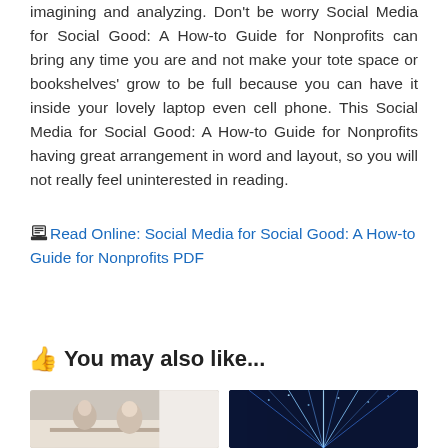imagining and analyzing. Don't be worry Social Media for Social Good: A How-to Guide for Nonprofits can bring any time you are and not make your tote space or bookshelves' grow to be full because you can have it inside your lovely laptop even cell phone. This Social Media for Social Good: A How-to Guide for Nonprofits having great arrangement in word and layout, so you will not really feel uninterested in reading.
Read Online: Social Media for Social Good: A How-to Guide for Nonprofits PDF
You may also like...
[Figure (photo): Photo of people working in an office environment, appears to show women at work]
[Figure (photo): Dark blue digital/technology themed image with light beams or data streams]